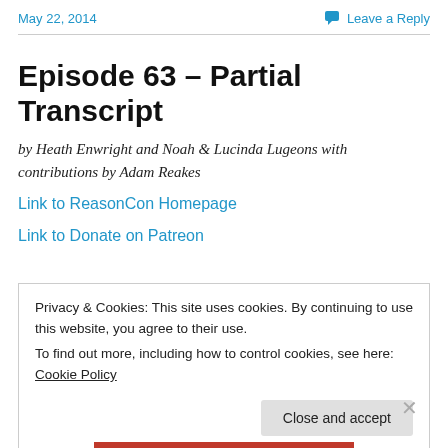May 22, 2014   Leave a Reply
Episode 63 – Partial Transcript
by Heath Enwright and Noah & Lucinda Lugeons with contributions by Adam Reakes
Link to ReasonCon Homepage
Link to Donate on Patreon
Privacy & Cookies: This site uses cookies. By continuing to use this website, you agree to their use.
To find out more, including how to control cookies, see here: Cookie Policy
Close and accept